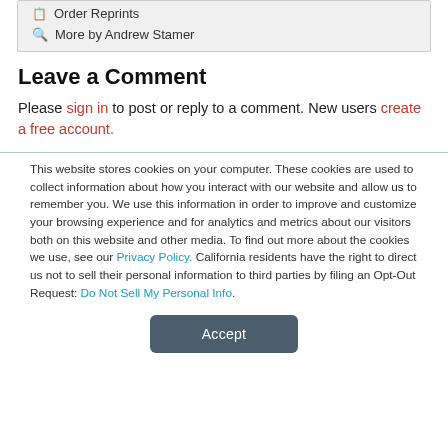Order Reprints
More by Andrew Stamer
Leave a Comment
Please sign in to post or reply to a comment. New users create a free account.
This website stores cookies on your computer. These cookies are used to collect information about how you interact with our website and allow us to remember you. We use this information in order to improve and customize your browsing experience and for analytics and metrics about our visitors both on this website and other media. To find out more about the cookies we use, see our Privacy Policy. California residents have the right to direct us not to sell their personal information to third parties by filing an Opt-Out Request: Do Not Sell My Personal Info.
Accept